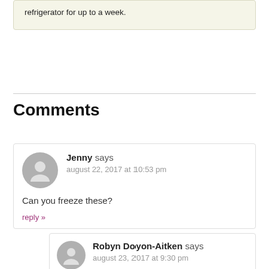refrigerator for up to a week.
Comments
Jenny says
august 22, 2017 at 10:53 pm
Can you freeze these?
reply »
Robyn Doyon-Aitken says
august 23, 2017 at 9:30 pm